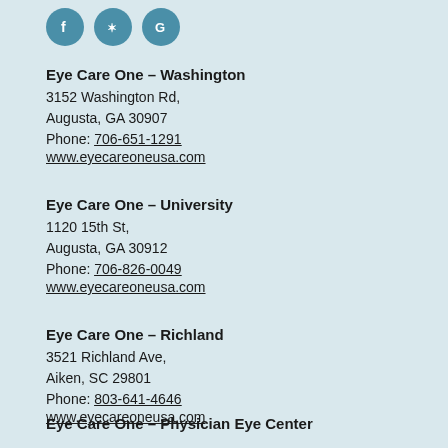[Figure (logo): Three circular social media icons (Facebook, Yelp, Google) in teal/blue color]
Eye Care One – Washington
3152 Washington Rd,
Augusta, GA 30907
Phone: 706-651-1291
www.eyecareoneusa.com
Eye Care One – University
1120 15th St,
Augusta, GA 30912
Phone: 706-826-0049
www.eyecareoneusa.com
Eye Care One – Richland
3521 Richland Ave,
Aiken, SC 29801
Phone: 803-641-4646
www.eyecareoneusa.com
Eye Care One – Physician Eye Center